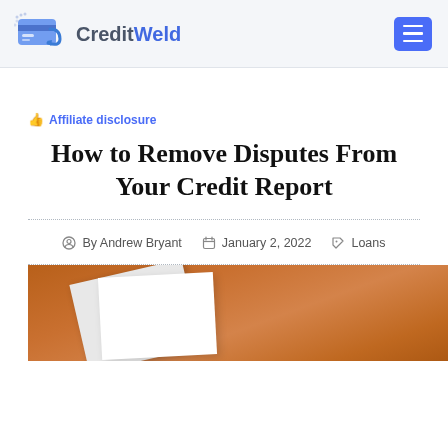CreditWeld
Affiliate disclosure
How to Remove Disputes From Your Credit Report
By Andrew Bryant   January 2, 2022   Loans
[Figure (photo): Paper sheets on a wooden surface, hero image for the article]